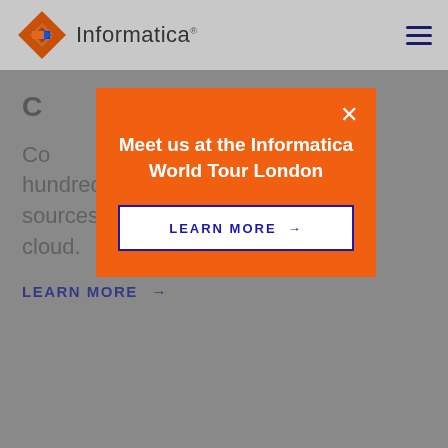[Figure (logo): Informatica logo with orange/brown diamond shape and blue arrow, with text 'Informatica']
[Figure (screenshot): Hamburger menu icon (three horizontal dark blue lines) in top right of header]
C
Co hundreds of applications and data sources across on-premises and cloud.
LEARN MORE →
[Figure (infographic): Orange modal popup overlay with white X close button, title 'Meet us at the Informatica World Tour London', and a white button with blue text 'LEARN MORE →']